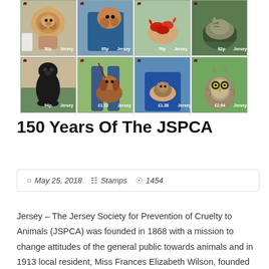[Figure (photo): A 4x2 grid of eight Jersey postage stamps showing animals and JSPCA scenes. Top row: puppy (50p), dog held by vet (65p), person holding red animals/lobsters (76p), sleeping cat (82p). Bottom row: black Labrador dog (94p), brown dog with person (£1.12), JSPCA worker holding animal (£1.38), owl (£2.64).]
150 Years Of The JSPCA
May 25, 2018  Stamps  1454
Jersey – The Jersey Society for Prevention of Cruelty to Animals (JSPCA) was founded in 1868 with a mission to change attitudes of the general public towards animals and in 1913 local resident, Miss Frances Elizabeth Wilson, founded the Jersey